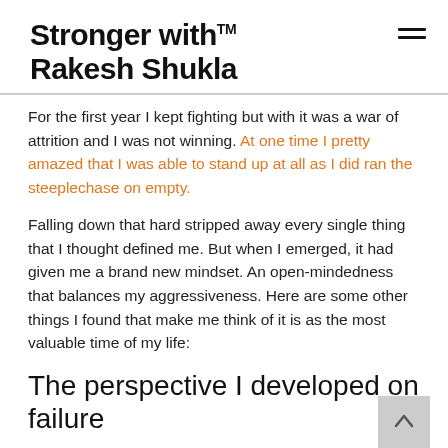Stronger with™ Rakesh Shukla
For the first year I kept fighting but with it was a war of attrition and I was not winning. At one time I pretty amazed that I was able to stand up at all as I did ran the steeplechase on empty.
Falling down that hard stripped away every single thing that I thought defined me. But when I emerged, it had given me a brand new mindset. An open-mindedness that balances my aggressiveness. Here are some other things I found that make me think of it is as the most valuable time of my life:
The perspective I developed on failure